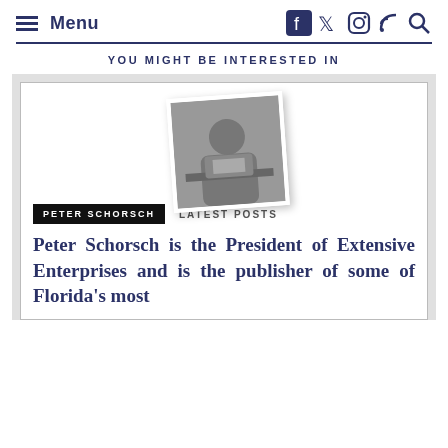Menu
YOU MIGHT BE INTERESTED IN
[Figure (photo): Black and white photo of Peter Schorsch sitting at a computer desk]
PETER SCHORSCH   LATEST POSTS
Peter Schorsch is the President of Extensive Enterprises and is the publisher of some of Florida's most influential media...